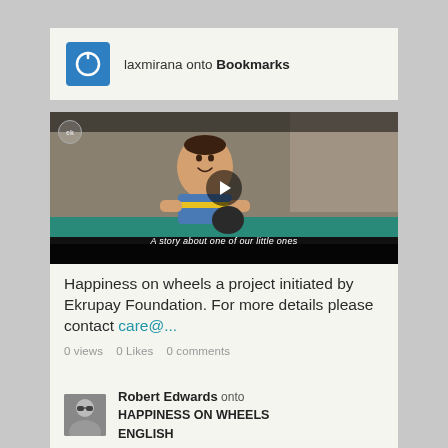laxmirana onto Bookmarks
[Figure (screenshot): Video thumbnail showing a smiling child with text 'A story about one of our little ones' and a play button overlay]
Happiness on wheels a project initiated by Ekrupay Foundation. For more details please contact care@...
0 views   0 Likes   0 comments
Robert Edwards onto HAPPINESS ON WHEELS ENGLISH